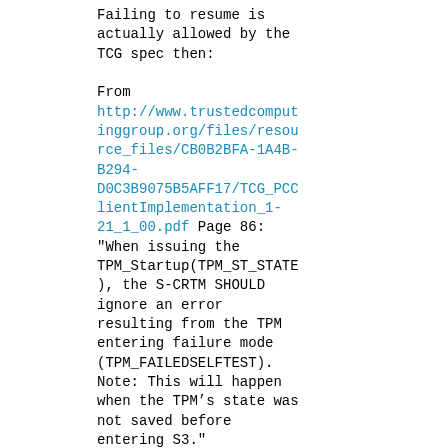Failing to resume is
actually allowed by the
TCG spec then:

From
http://www.trustedcomputinggroup.org/files/resource_files/CB0B2BFA-1A4B-B294-D0C3B9075B5AFF17/TCG_PCClientImplementation_1-21_1_00.pdf Page 86:
"When issuing the
TPM_Startup(TPM_ST_STATE
), the S-CRTM SHOULD
ignore an error
resulting from the TPM
entering failure mode
(TPM_FAILEDSELFTEST).
Note: This will happen
when the TPM’s state was
not saved before
entering S3."

It's SHOULD, not MUST.

Additionally, on page
40:
"If the TPM interface is
accessible and one of